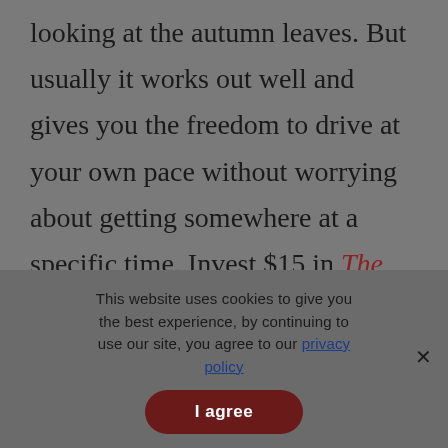looking at the autumn leaves. But usually it works out well and gives you the freedom to drive at your own pace without worrying about getting somewhere at a specific time. Invest $15 in The Next Exit, a book (and now also an app) that lists motels, restaurants and other points of interest at
This website uses cookies to give you the best experience, by continuing to use our site, you agree to our privacy policy
I agree